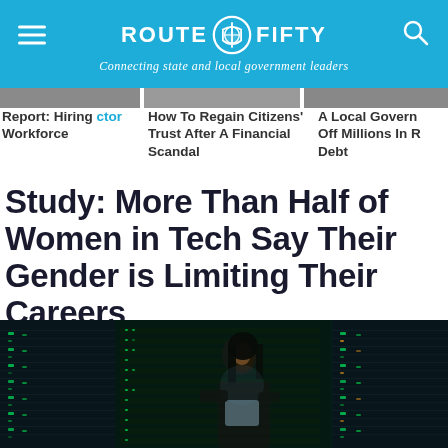ROUTE FIFTY — Connecting state and local government leaders
Report: Hiring [sector] Workforce
How To Regain Citizens' Trust After A Financial Scandal
A Local Govern[ment] Off Millions In R[etirement] Debt
Study: More Than Half of Women in Tech Say Their Gender is Limiting Their Careers
[Figure (photo): Woman in a dark server room illuminated by green LED lights on server racks, looking down at a tablet device]